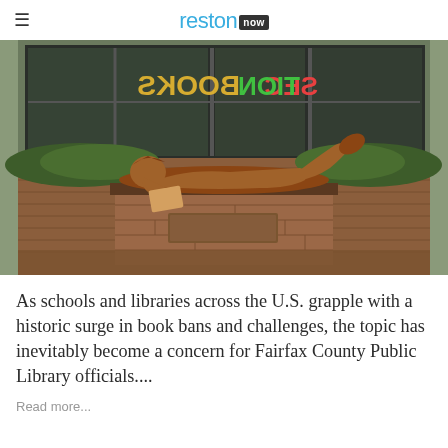reston now
[Figure (photo): Bronze sculpture of a child lying on their stomach reading a book, mounted on a brick pedestal outside a library. Store window in background shows reversed text 'BOOKS' and 'SECTION'. Surrounding area has mulch and shrubs.]
As schools and libraries across the U.S. grapple with a historic surge in book bans and challenges, the topic has inevitably become a concern for Fairfax County Public Library officials....
Read more...